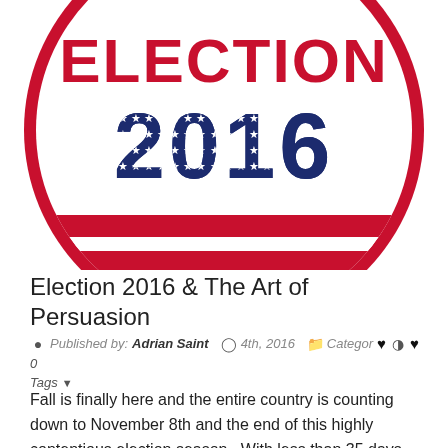[Figure (illustration): Circular election button badge with red and white stripes at the bottom and text 'ELECTION 2016' — ELECTION in red at top, 2016 in dark navy blue with white stars pattern, on white background with red border ring.]
Election 2016 & The Art of Persuasion
Published by: Adrian Saint  4th, 2016  Categories  0  Tags
Fall is finally here and the entire country is counting down to November 8th and the end of this highly contentious election season.  With less than 35 days until the election, most national polls have Secretary Clinton ahead of Donald Trump overall and in key swing states. Politics is all about persuasion and this election has given us a great case